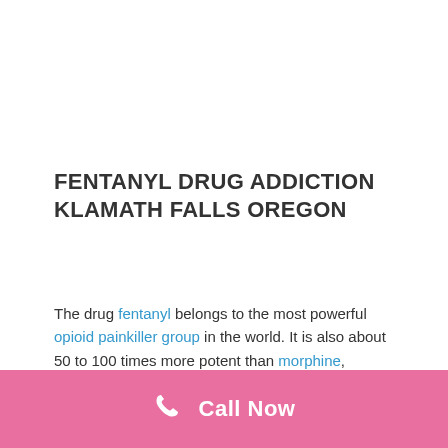FENTANYL DRUG ADDICTION KLAMATH FALLS OREGON
The drug fentanyl belongs to the most powerful opioid painkiller group in the world. It is also about 50 to 100 times more potent than morphine, according to the National Institute on Drug Abuse. Doctors prescribe fentanyl to treat patients experiencing severe pain or to cope with pain after surgery. Fentanyl comes in different types like nasal spray, lozenges, tablets and transdermal patches. During operation, doctors use
[Figure (other): Pink call-to-action bar with phone icon and 'Call Now' text]